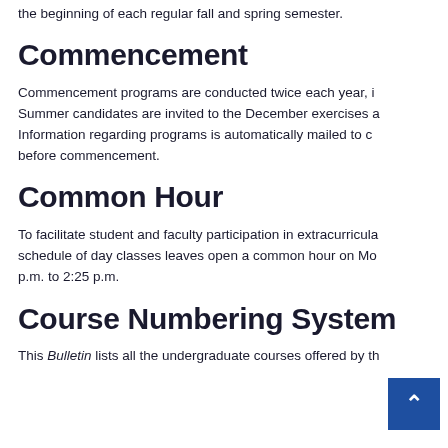the beginning of each regular fall and spring semester.
Commencement
Commencement programs are conducted twice each year, i... Summer candidates are invited to the December exercises a... Information regarding programs is automatically mailed to c... before commencement.
Common Hour
To facilitate student and faculty participation in extracurricula... schedule of day classes leaves open a common hour on Mo... p.m. to 2:25 p.m.
Course Numbering System
This Bulletin lists all the undergraduate courses offered by th...